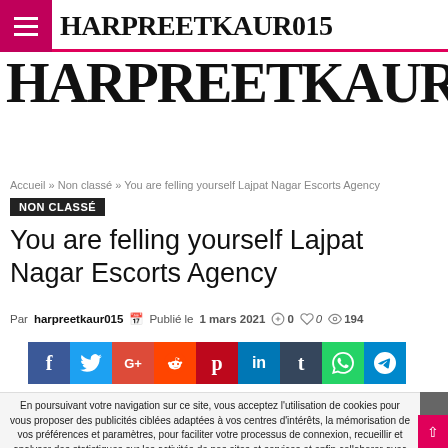HARPREETKAUR015
Accueil » Non classé » You are felling yourself Lajpat Nagar Escorts Agency
NON CLASSÉ
You are felling yourself Lajpat Nagar Escorts Agency
Par harpreetkaur015 | Publié le 1 mars 2021 | 0 | 0 | 194
[Figure (infographic): Social media share buttons: Facebook, Twitter, Google+, Reddit, Pinterest, LinkedIn, Tumblr, WhatsApp, Telegram]
En poursuivant votre navigation sur ce site, vous acceptez l'utilisation de cookies pour vous proposer des publicités ciblées adaptées à vos centres d'intérêts, la mémorisation de vos préférences et paramètres, pour faciliter votre processus de connexion, recueillir et analyser des statistiques sur les activités de nos sites et services et enfin collaborer avec des partenaires en hébergeant leurs contenus ou annonces publicitaires. Pour en savoir plus et paramétrer les cookies, cliquez ici.